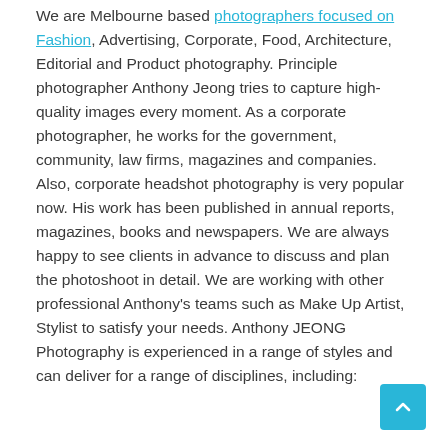We are Melbourne based photographers focused on Fashion, Advertising, Corporate, Food, Architecture, Editorial and Product photography. Principle photographer Anthony Jeong tries to capture high-quality images every moment. As a corporate photographer, he works for the government, community, law firms, magazines and companies. Also, corporate headshot photography is very popular now. His work has been published in annual reports, magazines, books and newspapers. We are always happy to see clients in advance to discuss and plan the photoshoot in detail. We are working with other professional Anthony's teams such as Make Up Artist, Stylist to satisfy your needs. Anthony JEONG Photography is experienced in a range of styles and can deliver for a range of disciplines, including: